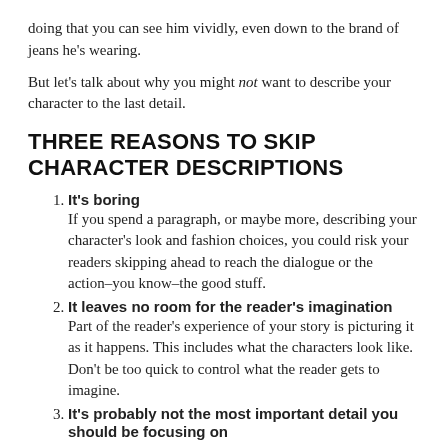doing that you can see him vividly, even down to the brand of jeans he's wearing.
But let's talk about why you might not want to describe your character to the last detail.
THREE REASONS TO SKIP CHARACTER DESCRIPTIONS
1. It's boring
If you spend a paragraph, or maybe more, describing your character's look and fashion choices, you could risk your readers skipping ahead to reach the dialogue or the action–you know–the good stuff.
2. It leaves no room for the reader's imagination
Part of the reader's experience of your story is picturing it as it happens. This includes what the characters look like. Don't be too quick to control what the reader gets to imagine.
3. It's probably not the most important detail you should be focusing on